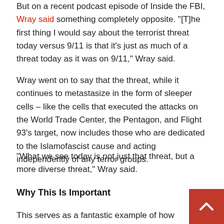But on a recent podcast episode of Inside the FBI, Wray said something completely opposite. "[T]he first thing I would say about the terrorist threat today versus 9/11 is that it's just as much of a threat today as it was on 9/11," Wray said.
Wray went on to say that the threat, while it continues to metastasize in the form of sleeper cells – like the cells that executed the attacks on the World Trade Center, the Pentagon, and Flight 93's target, now includes those who are dedicated to the Islamofascist cause and acting independently of any terror groups.
"What we see today is not just that threat, but a more diverse threat," Wray said.
Why This Is Important
This serves as a fantastic example of how disjointed and